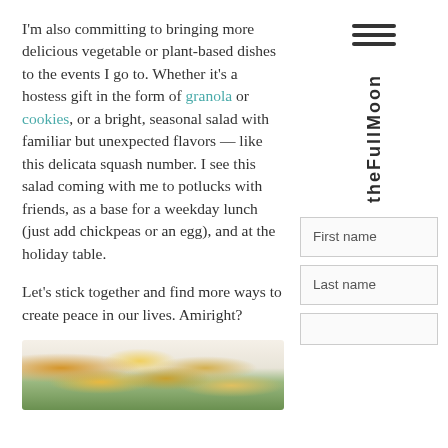I'm also committing to bringing more delicious vegetable or plant-based dishes to the events I go to. Whether it's a hostess gift in the form of granola or cookies, or a bright, seasonal salad with familiar but unexpected flavors — like this delicata squash number. I see this salad coming with me to potlucks with friends, as a base for a weekday lunch (just add chickpeas or an egg), and at the holiday table.
Let's stick together and find more ways to create peace in our lives. Amiright?
[Figure (photo): Food photo showing a salad with roasted delicata squash rings and greens on a plate]